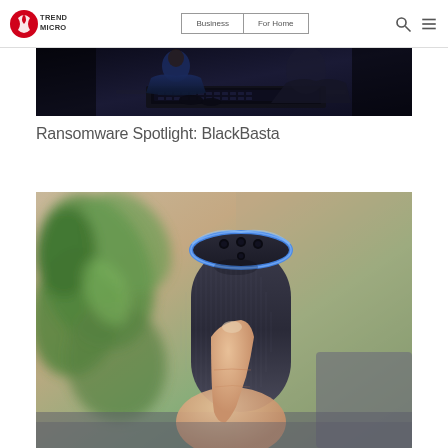Trend Micro | Business | For Home
[Figure (photo): Dark scene of a person in a blue jacket typing on a laptop keyboard, low-light hacker-style photo]
Ransomware Spotlight: BlackBasta
[Figure (photo): A hand pressing the top of an Amazon Echo (Alexa) smart speaker with blue ring light, green plant in blurred background]